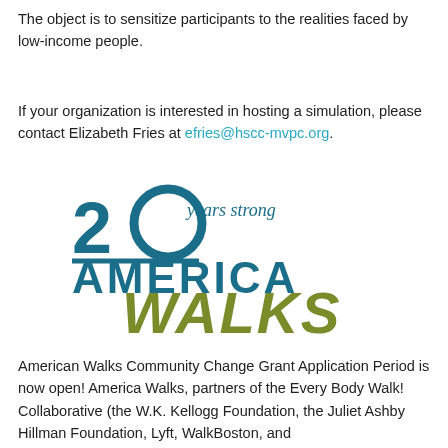The object is to sensitize participants to the realities faced by low-income people.
If your organization is interested in hosting a simulation, please contact Elizabeth Fries at efries@hscc-mvpc.org.
[Figure (logo): America Walks logo: '20 years strong' in teal italic text above 'AMERICA' in teal bold and 'WALKS' in olive/green bold italic large text.]
American Walks Community Change Grant Application Period is now open! America Walks, partners of the Every Body Walk! Collaborative (the W.K. Kellogg Foundation, the Juliet Ashby Hillman Foundation, Lyft, WalkBoston, and